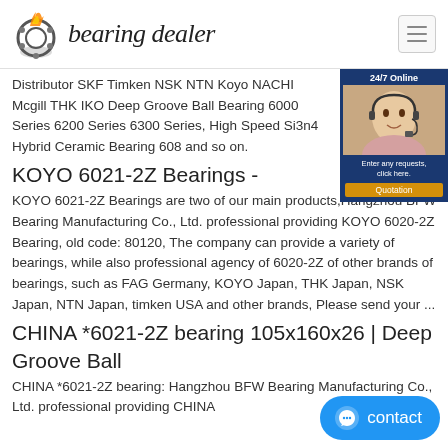bearing dealer
Distributor SKF Timken NSK NTN Koyo NACHI Mcgill THK IKO Deep Groove Ball Bearing 6000 Series 6200 Series 6300 Series, High Speed Si3n4 Hybrid Ceramic Bearing 608 and so on.
KOYO 6021-2Z Bearings -
KOYO 6021-2Z Bearings are two of our main products,Hangzhou BFW Bearing Manufacturing Co., Ltd. professional providing KOYO 6020-2Z Bearing, old code: 80120, The company can provide a variety of bearings, while also professional agency of 6020-2Z of other brands of bearings, such as FAG Germany, KOYO Japan, THK Japan, NSK Japan, NTN Japan, timken USA and other brands, Please send your ...
CHINA *6021-2Z bearing 105x160x26 | Deep Groove Ball
CHINA *6021-2Z bearing: Hangzhou BFW Bearing Manufacturing Co., Ltd. professional providing CHINA